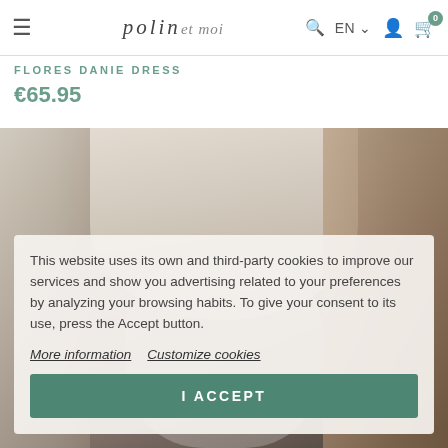polin et moi — navigation bar with hamburger menu, search, EN language selector, account icon, cart icon (0)
FLORES DANIE DRESS
€65.95
[Figure (photo): Fashion model wearing a white lace/floral dress, long auburn hair, photographed indoors near a wooden door]
This website uses its own and third-party cookies to improve our services and show you advertising related to your preferences by analyzing your browsing habits. To give your consent to its use, press the Accept button.
More information   Customize cookies
I ACCEPT